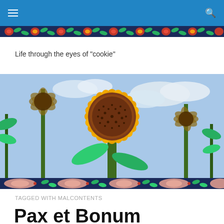Life through the eyes of "cookie"
[Figure (photo): Close-up photo of a large sunflower with orange-yellow petals and a dark reddish-brown center, set against a blue sky with clouds. Green sunflower plants are visible in the background.]
TAGGED WITH MALCONTENTS
Pax et Bonum